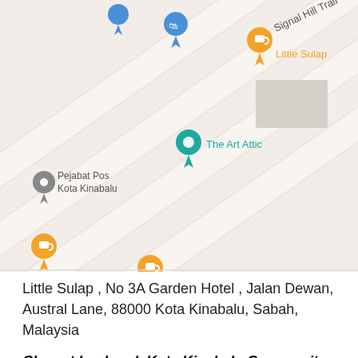[Figure (map): Google Maps screenshot showing Kota Kinabalu area with markers for Little Sulap (orange coffee cup), The Art Attic (teal), Pejabat Pos Kota Kinabalu (grey), Le Phi (orange coffee cup), October Coffee Gaya (orange coffee cup), and Signal Hill Trail label. Roads are shown at a diagonal angle.]
Little Sulap , No 3A Garden Hotel , Jalan Dewan, Austral Lane, 88000 Kota Kinabalu, Sabah, Malaysia
Closest landmark Kota Kinabalu Community Hall